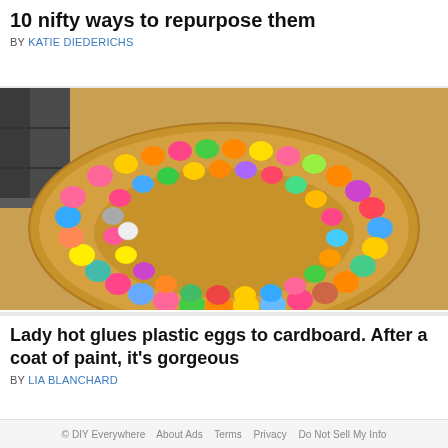10 nifty ways to repurpose them
BY KATIE DIEDERICHS
[Figure (photo): Colorful plastic Easter eggs arranged in a circular wreath pattern on a round cardboard/wooden board, placed on a table. The eggs are various colors including pink, blue, green, yellow, orange, and purple.]
Lady hot glues plastic eggs to cardboard. After a coat of paint, it's gorgeous
BY LIA BLANCHARD
© DIY Everywhere   About Ads   Terms   Privacy   Do Not Sell My Info